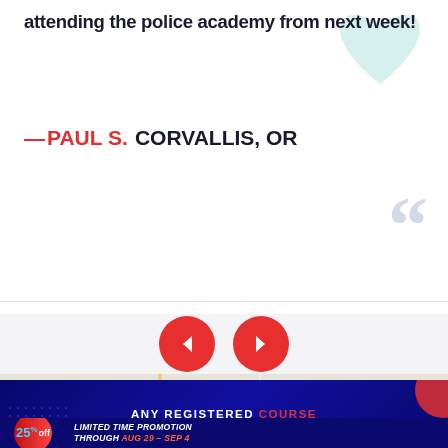attending the police academy from next week!
—PAUL S. CORVALLIS, OR
[Figure (screenshot): Navigation carousel arrows (left and right) in red circles]
[Figure (map): Google Maps embed showing Map/Satellite toggle, County Courts location]
ANY REGISTERED COURSE
25% off LIMITED TIME PROMOTION THROUGH AUG 29 – SEP 4
Promotional Code: POLICE25